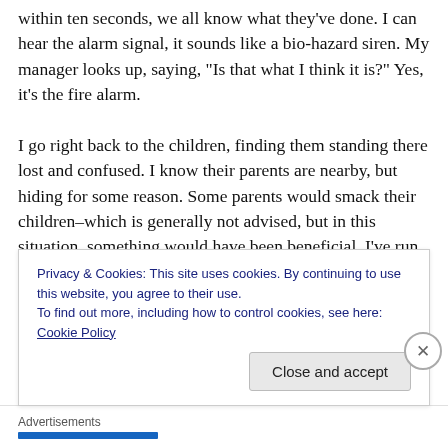within ten seconds, we all know what they've done. I can hear the alarm signal, it sounds like a bio-hazard siren. My manager looks up, saying, “Is that what I think it is?” Yes, it’s the fire alarm.

I go right back to the children, finding them standing there lost and confused. I know their parents are nearby, but hiding for some reason. Some parents would smack their children–which is generally not advised, but in this situation, something would have been beneficial. I’ve run into this problem before, with curious children, doing what they are not supposed to. I quickly press the silence
Privacy & Cookies: This site uses cookies. By continuing to use this website, you agree to their use.
To find out more, including how to control cookies, see here: Cookie Policy
Close and accept
Advertisements